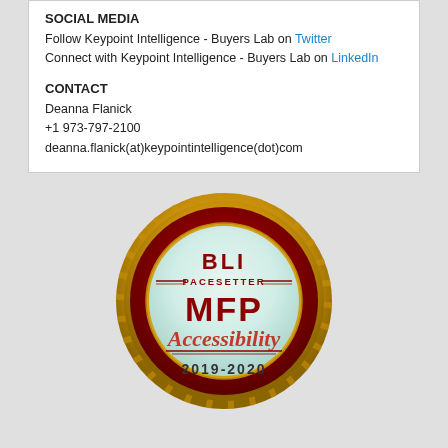SOCIAL MEDIA
Follow Keypoint Intelligence - Buyers Lab on Twitter
Connect with Keypoint Intelligence - Buyers Lab on LinkedIn
CONTACT
Deanna Flanick
+1 973-797-2100
deanna.flanick(at)keypointintelligence(dot)com
[Figure (illustration): BLI Pacesetter MFP Accessibility 2019-2020 award badge — a circular gold-edged medallion with a dark red ring, light mint interior showing 'BLI PACESETTER MFP Accessibility 2019-2020' text in red and dark red lettering.]